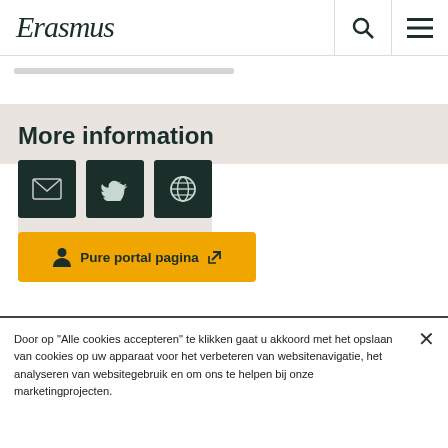[Figure (logo): Erasmus University Rotterdam logo in cursive script]
More information
[Figure (infographic): Three dark green square icon buttons: email envelope, Twitter bird, globe/website icon]
[Figure (infographic): Orange button with person icon and text: Pure portal pagina with external link icon]
Door op "Alle cookies accepteren" te klikken gaat u akkoord met het opslaan van cookies op uw apparaat voor het verbeteren van websitenavigatie, het analyseren van websitegebruik en om ons te helpen bij onze marketingprojecten.